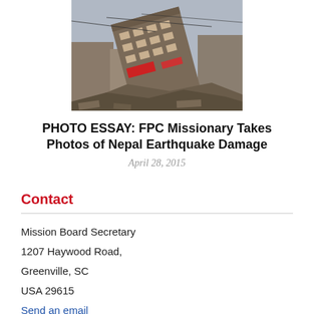[Figure (photo): Photo of collapsed/tilting multi-story building with earthquake damage in Nepal, debris visible]
PHOTO ESSAY: FPC Missionary Takes Photos of Nepal Earthquake Damage
April 28, 2015
Contact
Mission Board Secretary
1207 Haywood Road,
Greenville, SC
USA 29615
Send an email